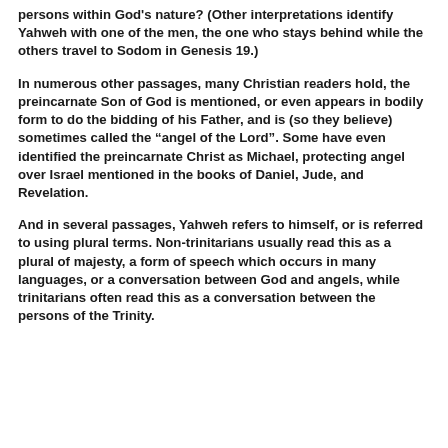persons within God's nature? (Other interpretations identify Yahweh with one of the men, the one who stays behind while the others travel to Sodom in Genesis 19.)
In numerous other passages, many Christian readers hold, the preincarnate Son of God is mentioned, or even appears in bodily form to do the bidding of his Father, and is (so they believe) sometimes called the “angel of the Lord”. Some have even identified the preincarnate Christ as Michael, protecting angel over Israel mentioned in the books of Daniel, Jude, and Revelation.
And in several passages, Yahweh refers to himself, or is referred to using plural terms. Non-trinitarians usually read this as a plural of majesty, a form of speech which occurs in many languages, or a conversation between God and angels, while trinitarians often read this as a conversation between the persons of the Trinity.